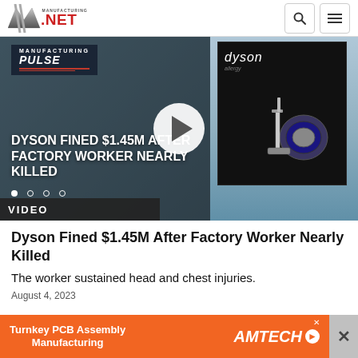Manufacturing.NET
[Figure (screenshot): Video thumbnail showing 'DYSON FINED $1.45M AFTER FACTORY WORKER NEARLY KILLED' headline overlay on a dark image with play button, Manufacturing logo badge, and Dyson vacuum product box on right side. Carousel dots visible at bottom.]
VIDEO
Dyson Fined $1.45M After Factory Worker Nearly Killed
The worker sustained head and chest injuries.
August 4, 2023
[Figure (infographic): Orange advertisement banner for Turnkey PCB Assembly Manufacturing by AMTECH, with close button (X) on the right.]